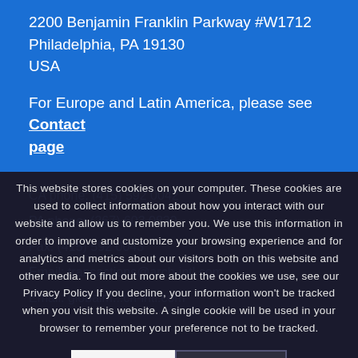2200 Benjamin Franklin Parkway #W1712
Philadelphia, PA 19130
USA
For Europe and Latin America, please see Contact page
CA phone: (415) 592 0042
PA phone: (267) 603 0830
Fax: (415) 592 0043
Email: transactions@arch-intl.com
Email: globalm...ch-intl.com
This website stores cookies on your computer. These cookies are used to collect information about how you interact with our website and allow us to remember you. We use this information in order to improve and customize your browsing experience and for analytics and metrics about our visitors both on this website and other media. To find out more about the cookies we use, see our Privacy Policy If you decline, your information won't be tracked when you visit this website. A single cookie will be used in your browser to remember your preference not to be tracked.